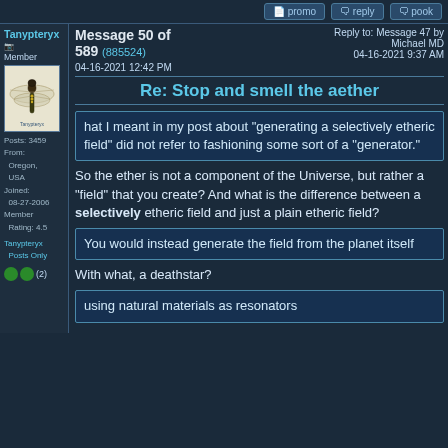promo | reply | pook
Tanypteryx Member | Message 50 of 589 (885524) | 04-16-2021 12:42 PM | Reply to: Message 47 by Michael MD | 04-16-2021 9:37 AM
Re: Stop and smell the aether
hat I meant in my post about "generating a selectively etheric field" did not refer to fashioning some sort of a "generator."
So the ether is not a component of the Universe, but rather a "field" that you create? And what is the difference between a selectively etheric field and just a plain etheric field?
You would instead generate the field from the planet itself
With what, a deathstar?
using natural materials as resonators
Posts: 3459
From:
    Oregon,
    USA
Joined:
    08-27-2006
Member
    Rating: 4.5
Tanypteryx
    Posts Only